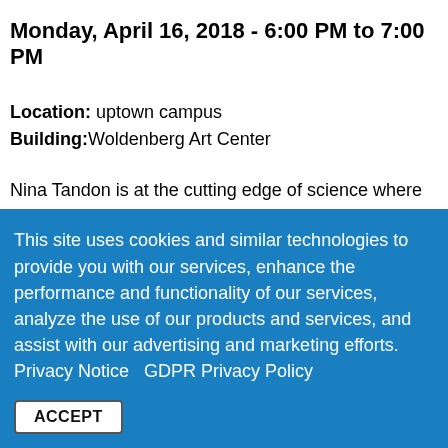Monday, April 16, 2018 - 6:00 PM to 7:00 PM
Location: uptown campus
Building: Woldenberg Art Center
Nina Tandon is at the cutting edge of science where sci-fi meets reality. As CEO and co-founder of EpiBone, the world’s first company growing living human bones for skeletal reconstruction, she works at
This site uses cookies and similar technologies to provide you with our services, enhance the performance and functionality of our services, analyze the use of our products and services, and assist with our advertising and marketing efforts.  Privacy Notice   GDPR Privacy Policy
ACCEPT